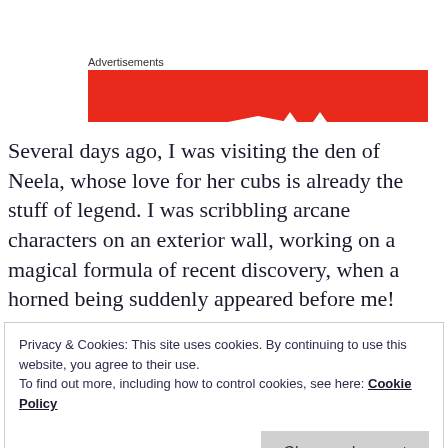[Figure (other): Red advertisement banner with label 'Advertisements' above it]
Several days ago, I was visiting the den of Neela, whose love for her cubs is already the stuff of legend. I was scribbling arcane characters on an exterior wall, working on a magical formula of recent discovery, when a horned being suddenly appeared before me!
Privacy & Cookies: This site uses cookies. By continuing to use this website, you agree to their use.
To find out more, including how to control cookies, see here: Cookie Policy
Close and accept
Szaboch